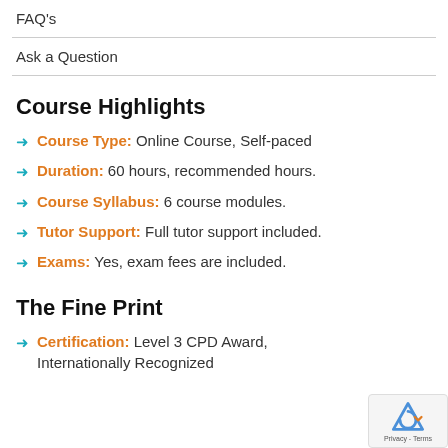FAQ's
Ask a Question
Course Highlights
Course Type: Online Course, Self-paced
Duration: 60 hours, recommended hours.
Course Syllabus: 6 course modules.
Tutor Support: Full tutor support included.
Exams: Yes, exam fees are included.
The Fine Print
Certification: Level 3 CPD Award, Internationally Recognized